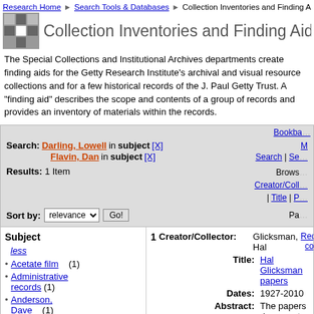Research Home > Search Tools & Databases > Collection Inventories and Finding Aids
Collection Inventories and Finding Aids
The Special Collections and Institutional Archives departments create finding aids for the Getty Research Institute's archival and visual resource collections and for a few historical records of the J. Paul Getty Trust. A "finding aid" describes the scope and contents of a group of records and provides an inventory of materials within the records.
Search: Darling, Lowell in subject [X] Flavin, Dan in subject [X]
Results: 1 Item
Sort by: relevance Go!
Subject
less
Acetate film (1)
Administrative records (1)
Anderson, Dave (1)
1 Creator/Collector: Glicksman, Hal Title: Hal Glicksman papers Dates: 1927-2010 Abstract: The papers document the